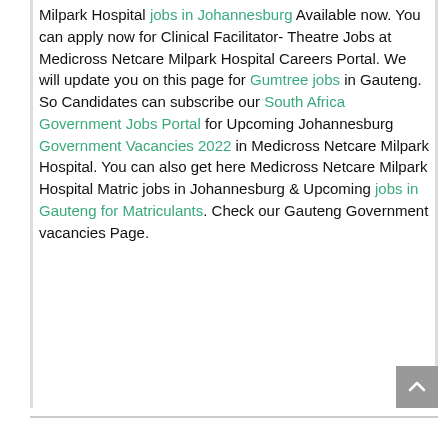Milpark Hospital jobs in Johannesburg Available now. You can apply now for Clinical Facilitator- Theatre Jobs at Medicross Netcare Milpark Hospital Careers Portal. We will update you on this page for Gumtree jobs in Gauteng. So Candidates can subscribe our South Africa Government Jobs Portal for Upcoming Johannesburg Government Vacancies 2022 in Medicross Netcare Milpark Hospital. You can also get here Medicross Netcare Milpark Hospital Matric jobs in Johannesburg & Upcoming jobs in Gauteng for Matriculants. Check our Gauteng Government vacancies Page.